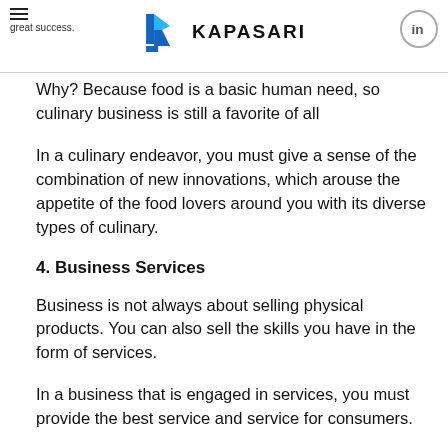KAPASARI — great success.
Why? Because food is a basic human need, so culinary business is still a favorite of all
In a culinary endeavor, you must give a sense of the combination of new innovations, which arouse the appetite of the food lovers around you with its diverse types of culinary.
4. Business Services
Business is not always about selling physical products. You can also sell the skills you have in the form of services.
In a business that is engaged in services, you must provide the best service and service for consumers.